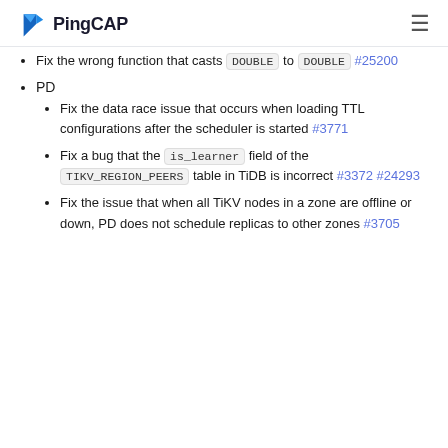PingCAP
Fix the wrong function that casts DOUBLE to DOUBLE #25200
PD
Fix the data race issue that occurs when loading TTL configurations after the scheduler is started #3771
Fix a bug that the is_learner field of the TIKV_REGION_PEERS table in TiDB is incorrect #3372 #24293
Fix the issue that when all TiKV nodes in a zone are offline or down, PD does not schedule replicas to other zones #3705